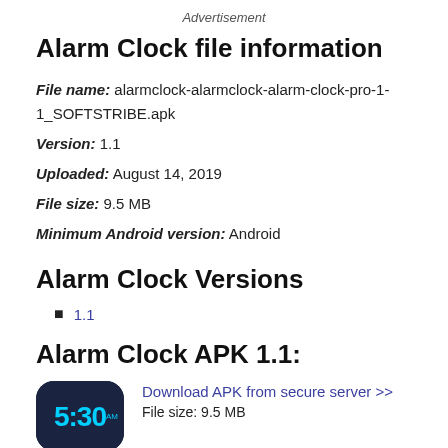Advertisement
Alarm Clock file information
File name: alarmclock-alarmclock-alarm-clock-pro-1-1_SOFTSTRIBE.apk
Version: 1.1
Uploaded: August 14, 2019
File size: 9.5 MB
Minimum Android version: Android
Alarm Clock Versions
1.1
Alarm Clock APK 1.1:
[Figure (illustration): Alarm Clock app icon showing a digital clock display reading 5:30 on a dark blue/navy background with rounded corners]
Download APK from secure server >> 
File size: 9.5 MB